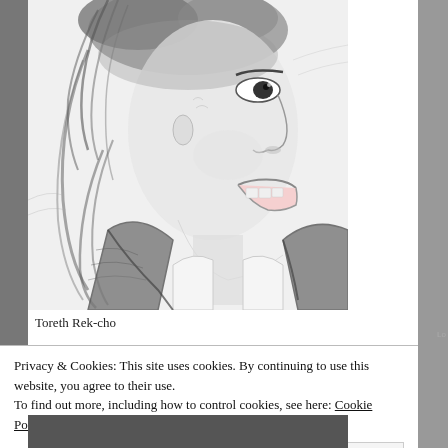[Figure (illustration): Pencil sketch portrait of a person with short dark hair, facing slightly upward and to the right, with an open mouth expression, wearing a jacket with a white collar/shirt visible underneath. The style is realistic pencil drawing.]
Toreth Rek-cho
Privacy & Cookies: This site uses cookies. By continuing to use this website, you agree to their use.
To find out more, including how to control cookies, see here: Cookie Policy
Close and accept